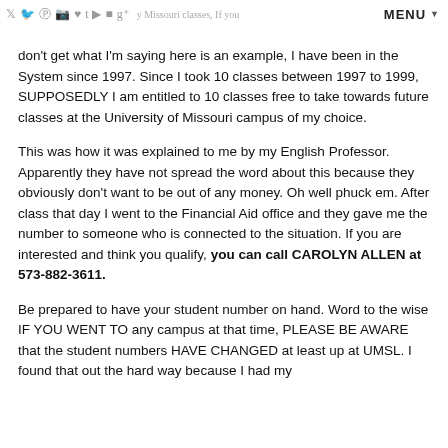Social icons | MENU
don't get what I'm saying here is an example, I have been in the System since 1997. Since I took 10 classes between 1997 to 1999, SUPPOSEDLY I am entitled to 10 classes free to take towards future classes at the University of Missouri campus of my choice.
This was how it was explained to me by my English Professor. Apparently they have not spread the word about this because they obviously don't want to be out of any money. Oh well phuck em. After class that day I went to the Financial Aid office and they gave me the number to someone who is connected to the situation. If you are interested and think you qualify, you can call CAROLYN ALLEN at 573-882-3611.
Be prepared to have your student number on hand. Word to the wise IF YOU WENT TO any campus at that time, PLEASE BE AWARE that the student numbers HAVE CHANGED at least up at UMSL. I found that out the hard way because I had my